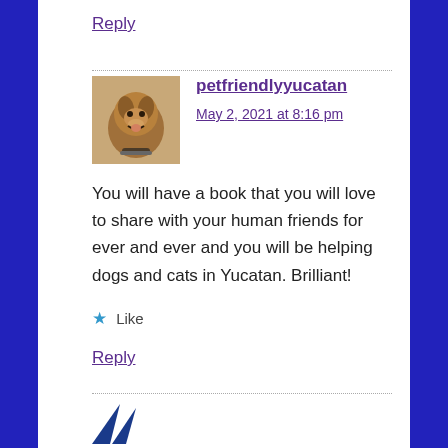Reply
petfriendlyyucatan says:
May 2, 2021 at 8:16 pm
You will have a book that you will love to share with your human friends for ever and ever and you will be helping dogs and cats in Yucatan. Brilliant!
Like
Reply